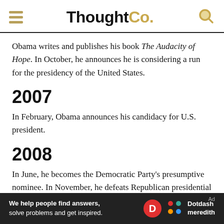ThoughtCo.
Obama writes and publishes his book The Audacity of Hope. In October, he announces he is considering a run for the presidency of the United States.
2007
In February, Obama announces his candidacy for U.S. president.
2008
In June, he becomes the Democratic Party's presumptive nominee. In November, he defeats Republican presidential
We help people find answers, solve problems and get inspired. Dotdash meredith